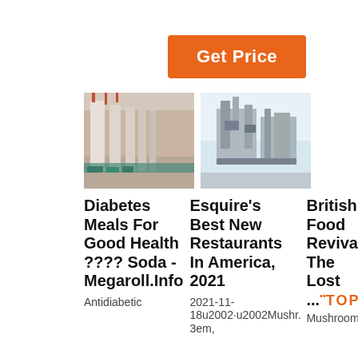[Figure (other): Orange 'Get Price' button]
[Figure (photo): Industrial warehouse interior with large white cylindrical columns and green machinery]
[Figure (photo): Industrial grain/seed processing machinery in an outdoor or large facility setting]
[Figure (photo): Customer support lady with headset, 24/7 Online chat overlay with QUOTATION button]
Diabetes Meals For Good Health ???? Soda - Megaroll.Info
Antidiabetic
Esquire's Best New Restaurants In America, 2021
2021-11-18u2002·u2002Mushr. 3em,
British Food Revival: The Lost ...
Mushroom,